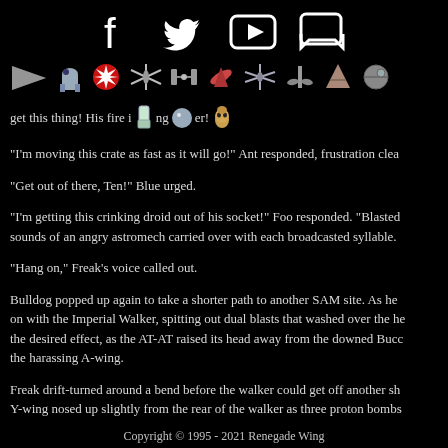[Figure (screenshot): Social media icons: Facebook, Twitter, YouTube/Play, Discord in white on black background]
[Figure (screenshot): Row of Star Wars themed navigation icons: ship, R2-D2, Rebel Alliance, X-wing, TIE fighter, red ship, X-wing, Y-wing, gold ship, Death Star, plus emoji icons (glass, chrome ball, C-3PO)]
get this thing! His fire i ng er!
"I'm moving this crate as fast as it will go!" Ant responded, frustration clea
"Get out of there, Ten!" Blue urged.
"I'm getting this crinking droid out of his socket!" Foo responded. "Blasted sounds of an angry astromech carried over with each broadcasted syllable.
"Hang on," Freak's voice called out.
Bulldog popped up again to take a shorter path to another SAM site. As he on with the Imperial Walker, spitting out dual blasts that washed over the he the desired effect, as the AT-AT raised its head away from the downed Bucc the harassing A-wing.
Freak drift-turned around a bend before the walker could get off another sh Y-wing nosed up slightly from the rear of the walker as three proton bombs
Copyright © 1995 - 2021 Renegade Wing